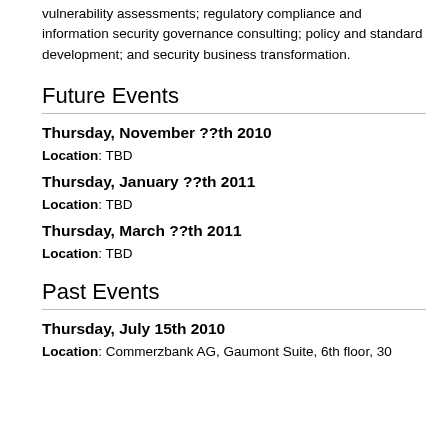vulnerability assessments; regulatory compliance and information security governance consulting; policy and standard development; and security business transformation.
Future Events
Thursday, November ??th 2010
Location: TBD
Thursday, January ??th 2011
Location: TBD
Thursday, March ??th 2011
Location: TBD
Past Events
Thursday, July 15th 2010
Location: Commerzbank AG, Gaumont Suite, 6th floor, 30